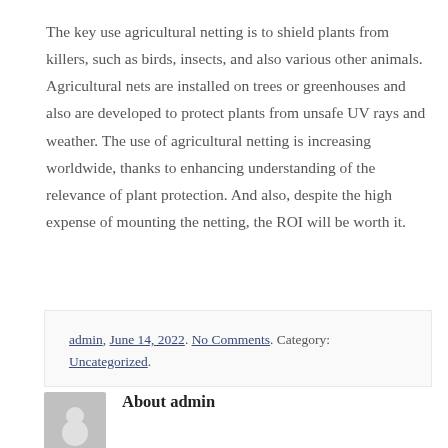The key use agricultural netting is to shield plants from killers, such as birds, insects, and also various other animals. Agricultural nets are installed on trees or greenhouses and also are developed to protect plants from unsafe UV rays and weather. The use of agricultural netting is increasing worldwide, thanks to enhancing understanding of the relevance of plant protection. And also, despite the high expense of mounting the netting, the ROI will be worth it.
admin, June 14, 2022. No Comments. Category: Uncategorized.
About admin